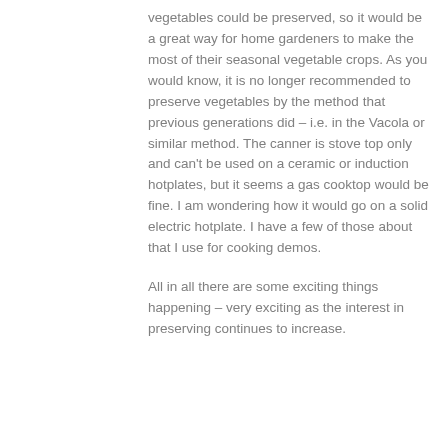vegetables could be preserved, so it would be a great way for home gardeners to make the most of their seasonal vegetable crops. As you would know, it is no longer recommended to preserve vegetables by the method that previous generations did – i.e. in the Vacola or similar method. The canner is stove top only and can't be used on a ceramic or induction hotplates, but it seems a gas cooktop would be fine. I am wondering how it would go on a solid electric hotplate. I have a few of those about that I use for cooking demos.
All in all there are some exciting things happening – very exciting as the interest in preserving continues to increase.